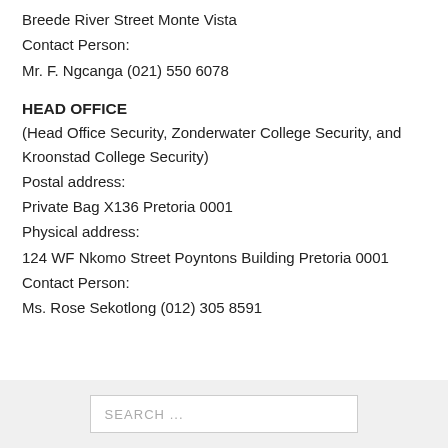Breede River Street Monte Vista
Contact Person:
Mr. F. Ngcanga (021) 550 6078
HEAD OFFICE
(Head Office Security, Zonderwater College Security, and Kroonstad College Security)
Postal address:
Private Bag X136 Pretoria 0001
Physical address:
124 WF Nkomo Street Poyntons Building Pretoria 0001
Contact Person:
Ms. Rose Sekotlong (012) 305 8591
SEARCH ...